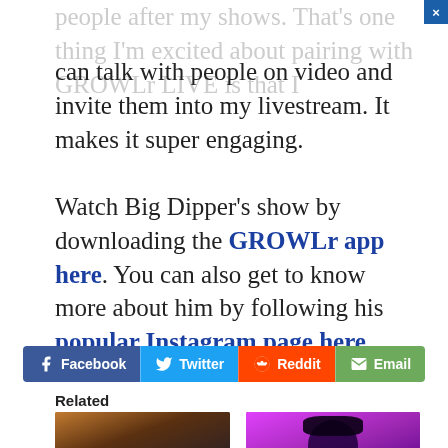people after my shows. That's one thing I'm excited about pairing with GROWLr LIVE is that I can talk with people on video and invite them into my livestream. It makes it super engaging.
Watch Big Dipper's show by downloading the GROWLr app here. You can also get to know more about him by following his popular Instagram page here.
[Figure (other): Social share buttons: Facebook, Twitter, Reddit, Email]
Related
[Figure (photo): Big Dipper dancing outdoors at night in pink shorts]
Big Dipper's Milkshake
[Figure (photo): Person with hat looking up in purple/pink light]
Big Dipper Wants to Know